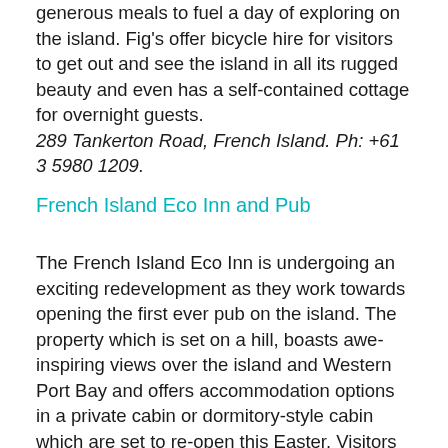generous meals to fuel a day of exploring on the island. Fig's offer bicycle hire for visitors to get out and see the island in all its rugged beauty and even has a self-contained cottage for overnight guests.
289 Tankerton Road, French Island. Ph: +61 3 5980 1209.
French Island Eco Inn and Pub
The French Island Eco Inn is undergoing an exciting redevelopment as they work towards opening the first ever pub on the island. The property which is set on a hill, boasts awe-inspiring views over the island and Western Port Bay and offers accommodation options in a private cabin or dormitory-style cabin which are set to re-open this Easter. Visitors can make the most of stargazing, birdwatching and bushwalking all from the Eco Inn. The highly anticipated French Island pub is due to be ready by December 2018.
Western end of Tankerton Road, 300 metres from the French Island jetty. Ph: +61 3 5980 1234